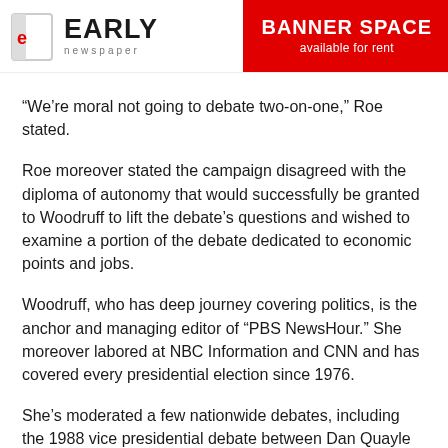EARLY newspaper | BANNER SPACE available for rent
“We’re moral not going to debate two-on-one,” Roe stated.
Roe moreover stated the campaign disagreed with the diploma of autonomy that would successfully be granted to Woodruff to lift the debate’s questions and wished to examine a portion of the debate dedicated to economic points and jobs.
Woodruff, who has deep journey covering politics, is the anchor and managing editor of “PBS NewsHour.” She moreover labored at NBC Information and CNN and has covered every presidential election since 1976.
She’s moderated a few nationwide debates, including the 1988 vice presidential debate between Dan Quayle and Lloyd Bentsen and a Republican presidential main debate in Iowa in 2012, and has beforehand moderated a few bar affiliation debates.